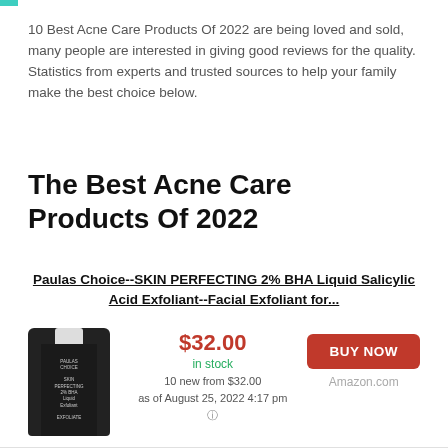10 Best Acne Care Products Of 2022 are being loved and sold, many people are interested in giving good reviews for the quality. Statistics from experts and trusted sources to help your family make the best choice below.
The Best Acne Care Products Of 2022
Paulas Choice--SKIN PERFECTING 2% BHA Liquid Salicylic Acid Exfoliant--Facial Exfoliant for...
[Figure (photo): Product photo of Paula's Choice Skin Perfecting 2% BHA Liquid Salicylic Acid Exfoliant bottle]
$32.00
in stock
10 new from $32.00
as of August 25, 2022 4:17 pm
(i)
BUY NOW
Amazon.com